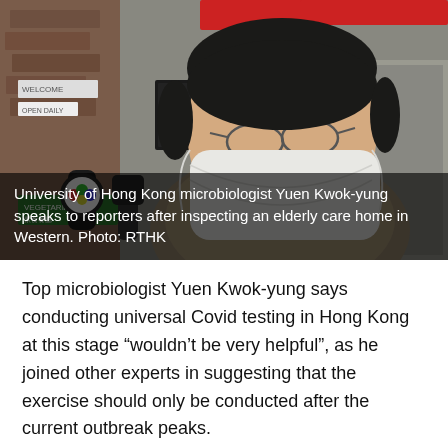[Figure (photo): University of Hong Kong microbiologist Yuen Kwok-yung wearing a mask and speaking to reporters holding microphones outside an elderly care home in Western district.]
University of Hong Kong microbiologist Yuen Kwok-yung speaks to reporters after inspecting an elderly care home in Western. Photo: RTHK
Top microbiologist Yuen Kwok-yung says conducting universal Covid testing in Hong Kong at this stage “wouldn’t be very helpful”, as he joined other experts in suggesting that the exercise should only be conducted after the current outbreak peaks.
The University of Hong Kong professor on Thursday